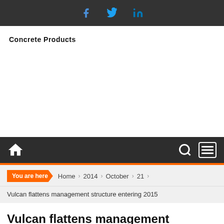Social icons: Facebook, Twitter, LinkedIn
Concrete Products
Navigation bar with home, search, and menu icons
You are here › Home › 2014 › October › 21
Vulcan flattens management structure entering 2015
Vulcan flattens management structure entering 2015